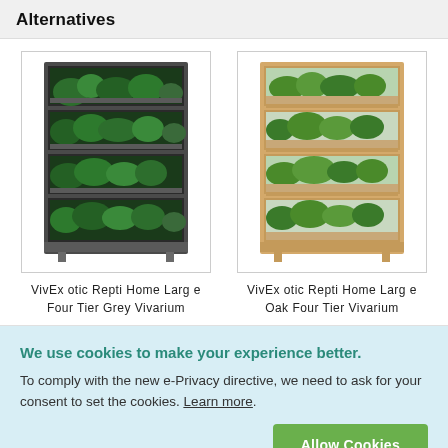Alternatives
[Figure (photo): VivExotic Repti Home Large Four Tier Grey Vivarium - a tall dark grey vivarium with four tiers showing green plants inside each section, on small legs]
VivExotic Repti Home Large Four Tier Grey Vivarium
[Figure (photo): VivExotic Repti Home Large Oak Four Tier Vivarium - a tall light oak-colored vivarium with four tiers showing green plants inside each section, on small legs]
VivExotic Repti Home Large Oak Four Tier Vivarium
We use cookies to make your experience better. To comply with the new e-Privacy directive, we need to ask for your consent to set the cookies. Learn more.
Allow Cookies